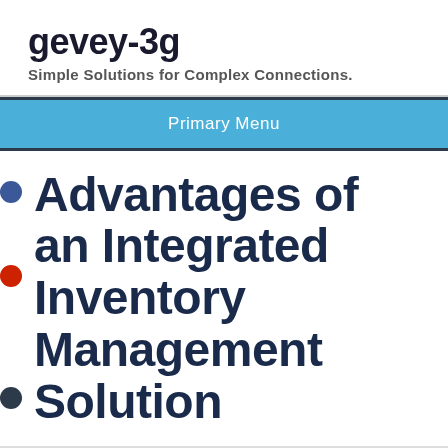gevey-3g
Simple Solutions for Complex Connections.
Primary Menu
Advantages of an Integrated Inventory Management Solution